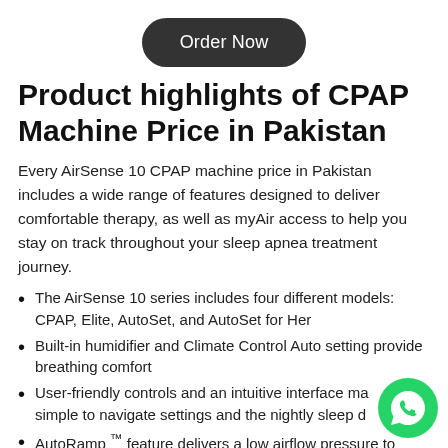[Figure (other): Order Now button — dark rounded pill button at top center]
Product highlights of CPAP Machine Price in Pakistan
Every AirSense 10 CPAP machine price in Pakistan includes a wide range of features designed to deliver comfortable therapy, as well as myAir access to help you stay on track throughout your sleep apnea treatment journey.
The AirSense 10 series includes four different models: CPAP, Elite, AutoSet, and AutoSet for Her
Built-in humidifier and Climate Control Auto setting provide breathing comfort
User-friendly controls and an intuitive interface make it simple to navigate settings and the nightly sleep data
AutoRamp ™ feature delivers a low airflow pressure to